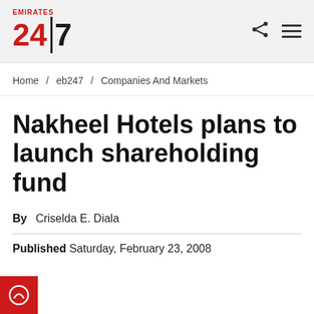Emirates 24|7
Home / eb247 / Companies And Markets
Nakheel Hotels plans to launch shareholding fund
By Criselda E. Diala
Published Saturday, February 23, 2008